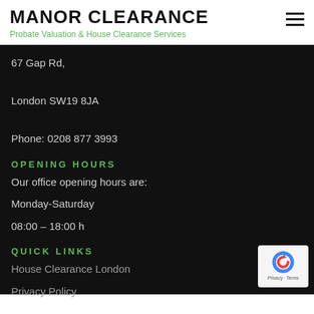MANOR CLEARANCE
Probate Valuation & House Clearance Services
67 Gap Rd,
London SW19 8JA
Phone: 0208 877 3993
OPENING HOURS
Our office opening hours are:
Monday-Saturday
08:00 – 18:00 h
QUICK LINKS
House Clearance London
Privacy Policy
[Figure (logo): reCAPTCHA badge with Privacy and Terms links]